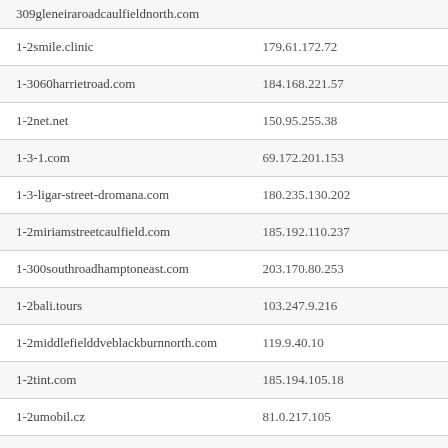| Domain | IP Address |
| --- | --- |
| 309gleneiraroadcaulfieldnorth.com |  |
| 1-2smile.clinic | 179.61.172.72 |
| 1-3060harrietroad.com | 184.168.221.57 |
| 1-2net.net | 150.95.255.38 |
| 1-3-1.com | 69.172.201.153 |
| 1-3-ligar-street-dromana.com | 180.235.130.202 |
| 1-2miriamstreetcaulfield.com | 185.192.110.237 |
| 1-300southroadhamptoneast.com | 203.170.80.253 |
| 1-2bali.tours | 103.247.9.216 |
| 1-2middlefielddveblackburnnorth.com | 119.9.40.10 |
| 1-2tint.com | 185.194.105.18 |
| 1-2umobil.cz | 81.0.217.105 |